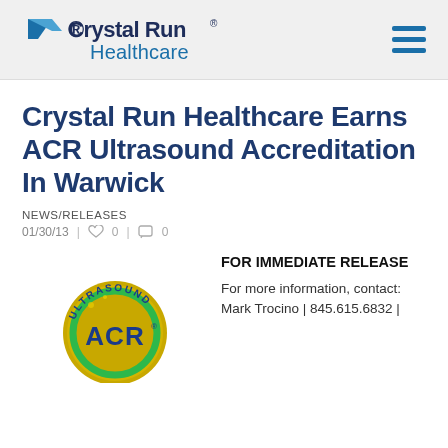Crystal Run Healthcare
Crystal Run Healthcare Earns ACR Ultrasound Accreditation In Warwick
NEWS/RELEASES
01/30/13  |  ♡ 0  |  ☐ 0
[Figure (logo): ACR Ultrasound accreditation gold seal badge with blue ACR letters and green ring]
FOR IMMEDIATE RELEASE
For more information, contact: Mark Trocino | 845.615.6832 |